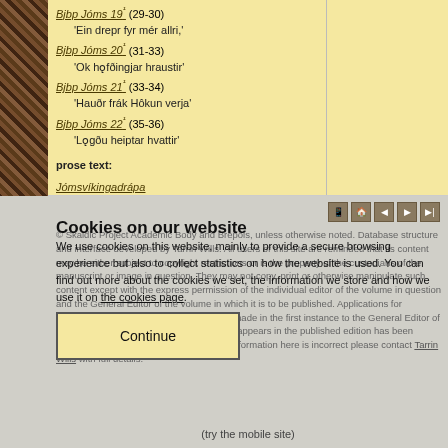Bjbp Jóms 19¹ (29-30) 'Ein drepr fyr mér allri,'
Bjbp Jóms 20¹ (31-33) 'Ok hǫfðingjar hraustir'
Bjbp Jóms 21¹ (33-34) 'Hauðr frák Hôkun verja'
Bjbp Jóms 22¹ (35-36) 'Lǫgðu heiptar hvattir'
prose text:
Jómsvíkingadrápa
© Skaldic Project Academic Body and Brepols, unless otherwise noted. Database structure and interface developed by Tarrin Wills. All users of this site are reminded that its content may be either subject to copyright restrictions or is the property of the custodians of the manuscript or image in question. They may not copy, print or otherwise manipulate such content except with the express permission of the individual editor of the volume in question and the General Editor of the volume in which it is to be published. Applications for permission to use such content should be made in the first instance to the General Editor of the volume in question. All information that appears in the published edition has been thoroughly reviewed. If you believe some information here is incorrect please contact Tarrin Wills with full details.
Cookies on our website
We use cookies on this website, mainly to provide a secure browsing experience but also to collect statistics on how the website is used. You can find out more about the cookies we set, the information we store and how we use it on the cookies page.
Continue
(try the mobile site)